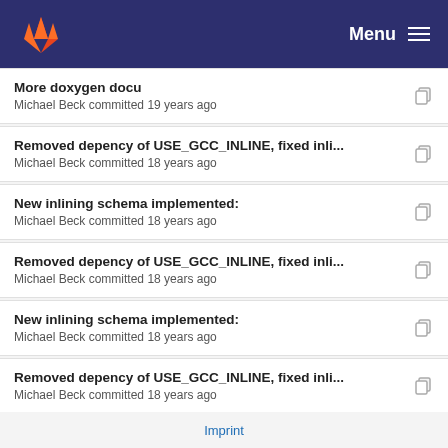GitLab Menu
More doxygen docu
Michael Beck committed 19 years ago
Removed depency of USE_GCC_INLINE, fixed inli...
Michael Beck committed 18 years ago
New inlining schema implemented:
Michael Beck committed 18 years ago
Removed depency of USE_GCC_INLINE, fixed inli...
Michael Beck committed 18 years ago
New inlining schema implemented:
Michael Beck committed 18 years ago
Removed depency of USE_GCC_INLINE, fixed inli...
Michael Beck committed 18 years ago
More doxygen docu
Michael Beck committed 19 years ago
Imprint